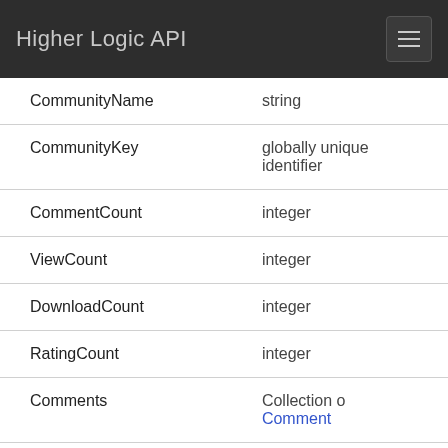Higher Logic API
| Field | Type |
| --- | --- |
| CommunityName | string |
| CommunityKey | globally unique identifier |
| CommentCount | integer |
| ViewCount | integer |
| DownloadCount | integer |
| RatingCount | integer |
| Comments | Collection of Comment |
| PaginatedComments | PaginatedComments |
| Attachments | Collection of |